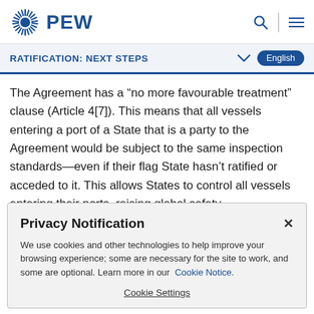PEW
RATIFICATION: NEXT STEPS
The Agreement has a “no more favourable treatment” clause (Article 4[7]). This means that all vessels entering a port of a State that is a party to the Agreement would be subject to the same inspection standards—even if their flag State hasn’t ratified or acceded to it. This allows States to control all vessels entering their ports, raising global safety
Privacy Notification

We use cookies and other technologies to help improve your browsing experience; some are necessary for the site to work, and some are optional. Learn more in our Cookie Notice.

Cookie Settings